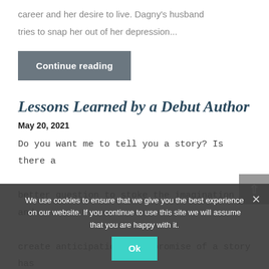career and her desire to live. Dagny's husband tries to snap her out of her depression...
Continue reading
Lessons Learned by a Debut Author
May 20, 2021
Do you want me to tell you a story? Is there a better question to stoke the imagination and create anticipation? The promise of a story has always electrified me. I've wanted to become a writer since my parents read me bedtime stories filled with fantasy and...
We use cookies to ensure that we give you the best experience on our website. If you continue to use this site we will assume that you are happy with it.
Ok